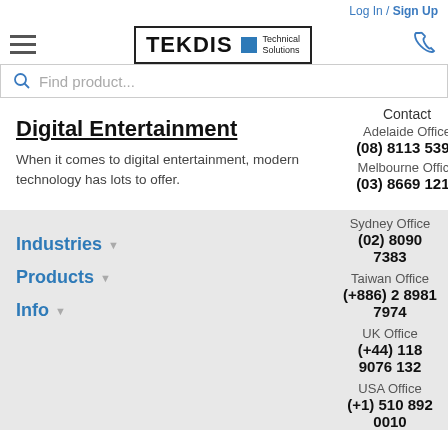Log In / Sign Up
[Figure (logo): TEKDIS Technical Solutions logo with blue square]
Find product...
Digital Entertainment
Contact
Adelaide Office
(08) 8113 5399
When it comes to digital entertainment, modern technology has lots to offer.
Melbourne Office
(03) 8669 1210
Sydney Office
(02) 8090 7383
Industries
Taiwan Office
(+886) 2 8981 7974
Products
UK Office
(+44) 118 9076 132
Info
USA Office
(+1) 510 892 0010